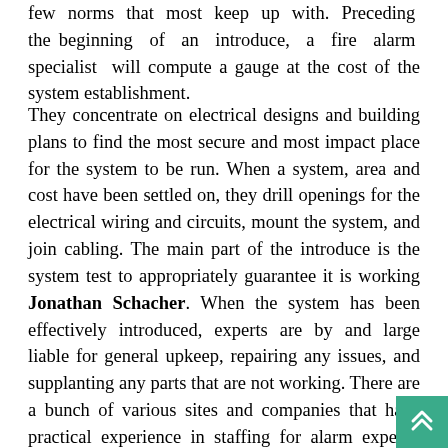few norms that most keep up with. Preceding the beginning of an introduce, a fire alarm specialist will compute a gauge at the cost of the system establishment.
They concentrate on electrical designs and building plans to find the most secure and most impact place for the system to be run. When a system, area and cost have been settled on, they drill openings for the electrical wiring and circuits, mount the system, and join cabling. The main part of the introduce is the system test to appropriately guarantee it is working Jonathan Schacher. When the system has been effectively introduced, experts are by and large liable for general upkeep, repairing any issues, and supplanting any parts that are not working. There are a bunch of various sites and companies that have practical experience in staffing for alarm experts. The vast majority of these companies offers assortment of specialty experts and can likewise g